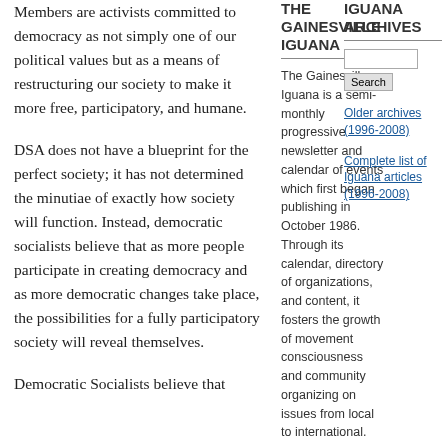Members are activists committed to democracy as not simply one of our political values but as a means of restructuring our society to make it more free, participatory, and humane.
DSA does not have a blueprint for the perfect society; it has not determined the minutiae of exactly how society will function. Instead, democratic socialists believe that as more people participate in creating democracy and as more democratic changes take place, the possibilities for a fully participatory society will reveal themselves.
Democratic Socialists believe that
THE GAINESVILLE IGUANA
The Gainesville Iguana is a semi-monthly progressive newsletter and calendar of events which first began publishing in October 1986. Through its calendar, directory of organizations, and content, it fosters the growth of movement consciousness and community organizing on issues from local to international.
[Figure (other): Donate with PayPal button (partial, cropped at bottom)]
IGUANA ARCHIVES
[Figure (other): Search input box and Search button]
Older archives (1996-2008)
Complete list of Iguana articles (1996-2008)